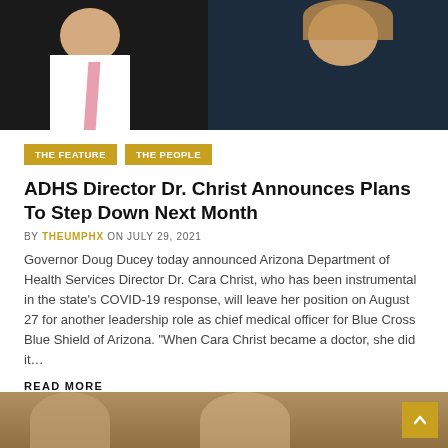[Figure (photo): Two people photographed from shoulders up — a man on the left in a black suit with a pink tie, and a woman on the right with curly hair in a dark top.]
THE FEATURE   THE PEOPLE
ADHS Director Dr. Christ Announces Plans To Step Down Next Month
BY THEUMPHX ON JULY 29, 2021
Governor Doug Ducey today announced Arizona Department of Health Services Director Dr. Cara Christ, who has been instrumental in the state’s COVID-19 response, will leave her position on August 27 for another leadership role as chief medical officer for Blue Cross Blue Shield of Arizona. “When Cara Christ became a doctor, she did it…
READ MORE
[Figure (photo): Partial photo at the bottom of the page showing two people.]